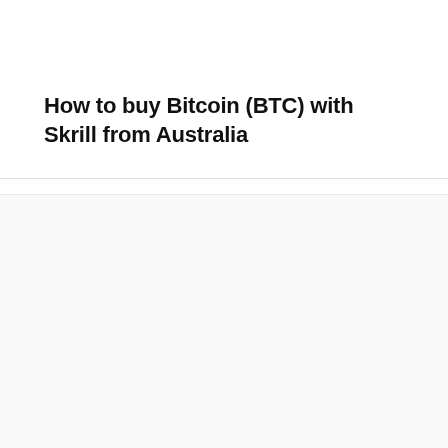How to buy Bitcoin (BTC) with Skrill from Australia